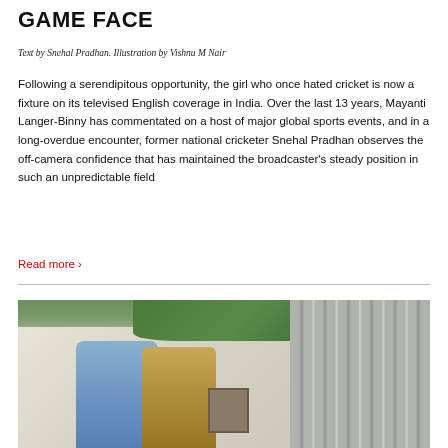GAME FACE
Text by Snehal Pradhan. Illustration by Vishnu M Nair
Following a serendipitous opportunity, the girl who once hated cricket is now a fixture on its televised English coverage in India. Over the last 13 years, Mayanti Langer-Binny has commentated on a host of major global sports events, and in a long-overdue encounter, former national cricketer Snehal Pradhan observes the off-camera confidence that has maintained the broadcaster's steady position in such an unpredictable field
Read more ›
[Figure (photo): Two women standing outdoors near a white wall and corrugated metal gate, with green foliage in background. One woman wears a blue outfit, the other wears an olive/gold outfit.]